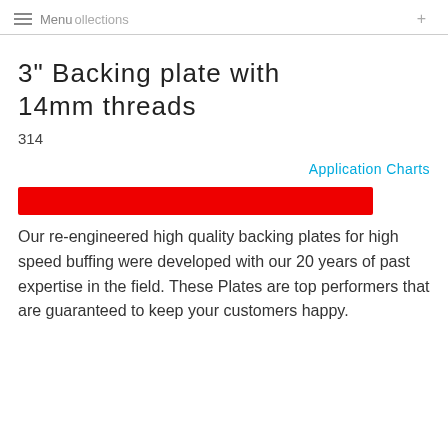Menu  Collections  +
3" Backing plate with 14mm threads
314
Application Charts
[Figure (other): Solid red rectangular bar/button element]
Our re-engineered high quality backing plates for high speed buffing were developed with our 20 years of past expertise in the field. These Plates are top performers that are guaranteed to keep your customers happy.